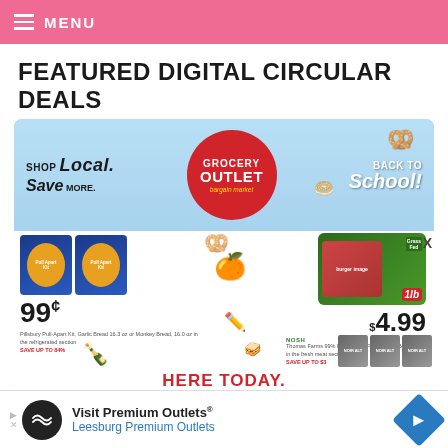MENU
FEATURED DIGITAL CIRCULAR DEALS
[Figure (screenshot): Grocery Outlet Bargain Market digital circular ad featuring Back to School deals. Shows 'SHOP Local. Save MORE.' text on left, Grocery Outlet Bargain Market red circle logo in center, 'BACK TO School!' text on right. Bottom shows product deals: Pull Apart Kit / Monkey Bread for 99¢ (Save up to 84%), and Nosh brand Thomas Farms 99% Lean Grass Fed Ground Beef 1lb for $4.99 (Save up to $3). Bottom of ad shows 'HERE TODAY.' text. Decorative pretzel, orange, pencil, chips, and sandwich illustrations.]
99¢ Pillsbury Pull-Apart Kit, Garlic Bread 16.3 oz or Monkey Bread, 16.0 oz in the refrigerated section SAVE UP TO 84%
$4.99 Thomas Farms 99% Lean Grass Fed Ground Beef, 1 lb in the fresh meat section SAVE UP TO $3
HERE TODAY.
[Figure (infographic): Bottom advertisement banner: Visit Premium Outlets® Leesburg Premium Outlets with logo icon and blue diamond arrow button]
Visit Premium Outlets® Leesburg Premium Outlets